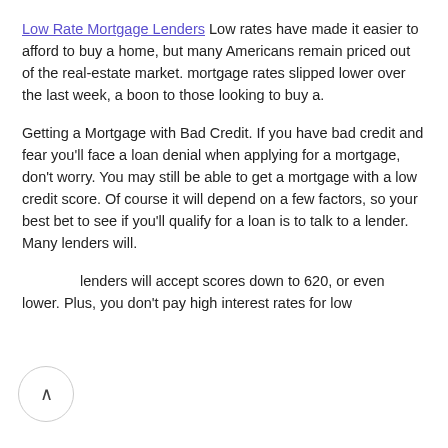Low Rate Mortgage Lenders Low rates have made it easier to afford to buy a home, but many Americans remain priced out of the real-estate market. mortgage rates slipped lower over the last week, a boon to those looking to buy a.
Getting a Mortgage with Bad Credit. If you have bad credit and fear you'll face a loan denial when applying for a mortgage, don't worry. You may still be able to get a mortgage with a low credit score. Of course it will depend on a few factors, so your best bet to see if you'll qualify for a loan is to talk to a lender. Many lenders will.
Most lenders will accept scores down to 620, or even lower. Plus, you don't pay high interest rates for low